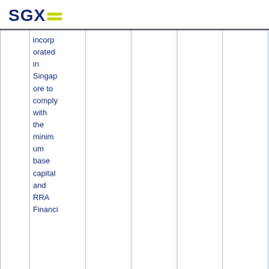SGX
|  | incorporated in Singapore to comply with the minimum base capital and RRA Financi |  |  |  |  |  |